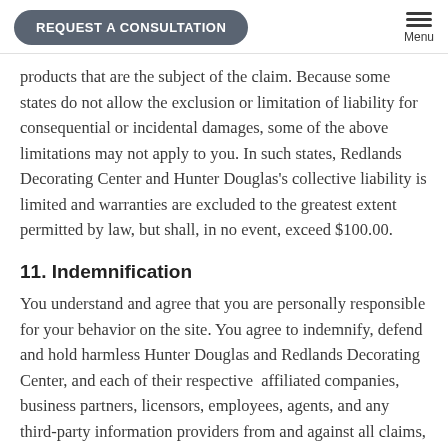REQUEST A CONSULTATION | Menu
products that are the subject of the claim. Because some states do not allow the exclusion or limitation of liability for consequential or incidental damages, some of the above limitations may not apply to you. In such states, Redlands Decorating Center and Hunter Douglas's collective liability is limited and warranties are excluded to the greatest extent permitted by law, but shall, in no event, exceed $100.00.
11. Indemnification
You understand and agree that you are personally responsible for your behavior on the site. You agree to indemnify, defend and hold harmless Hunter Douglas and Redlands Decorating Center, and each of their respective affiliated companies, business partners, licensors, employees, agents, and any third-party information providers from and against all claims, losses, expenses, damages and costs (including, but not limited to, direct